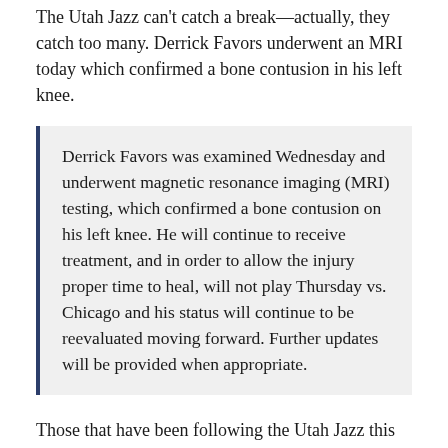The Utah Jazz can't catch a break—actually, they catch too many. Derrick Favors underwent an MRI today which confirmed a bone contusion in his left knee.
Derrick Favors was examined Wednesday and underwent magnetic resonance imaging (MRI) testing, which confirmed a bone contusion on his left knee. He will continue to receive treatment, and in order to allow the injury proper time to heal, will not play Thursday vs. Chicago and his status will continue to be reevaluated moving forward. Further updates will be provided when appropriate.
Those that have been following the Utah Jazz this year might say that he's looked a step or two slow for most of the season. This just confirms what most were